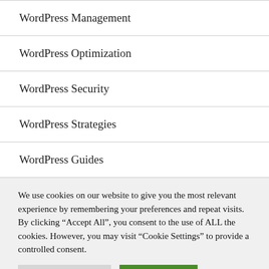WordPress Management
WordPress Optimization
WordPress Security
WordPress Strategies
WordPress Guides
We use cookies on our website to give you the most relevant experience by remembering your preferences and repeat visits. By clicking "Accept All", you consent to the use of ALL the cookies. However, you may visit "Cookie Settings" to provide a controlled consent.